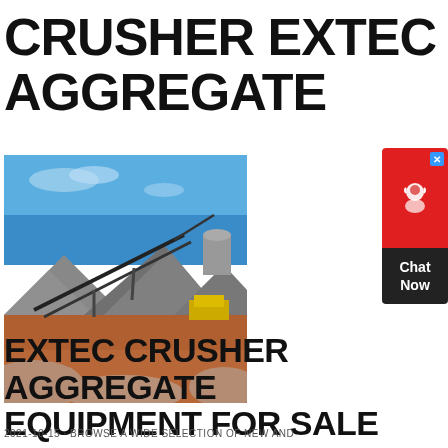CRUSHER EXTEC AGGREGATE
[Figure (photo): Outdoor aggregate crushing site with conveyor belts, piles of crushed stone/gravel, and machinery against a blue sky background.]
[Figure (other): Chat Now widget button with red top section containing a headset icon and blue X close button, and dark bottom section with 'Chat Now' text.]
EXTEC CRUSHER AGGREGATE EQUIPMENT FOR SALE 27 LISTINGS
2021-10-15 · BROWSE A WIDE SELECTION OF NEW AND